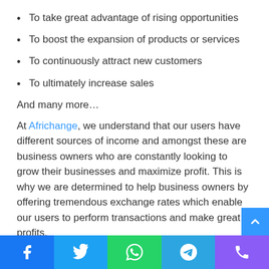To take great advantage of rising opportunities
To boost the expansion of products or services
To continuously attract new customers
To ultimately increase sales
And many more…
At Africhange, we understand that our users have different sources of income and amongst these are business owners who are constantly looking to grow their businesses and maximize profit. This is why we are determined to help business owners by offering tremendous exchange rates which enable our users to perform transactions and make great profits.
Social media icons: Facebook, Twitter, WhatsApp, Telegram, Phone